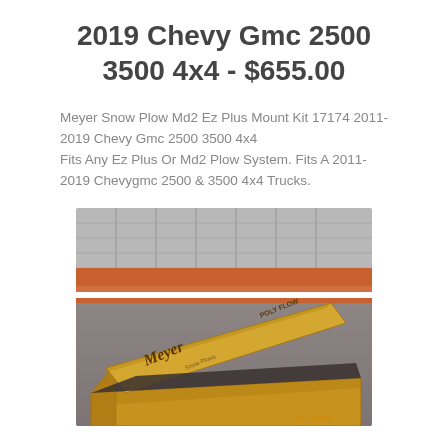2019 Chevy Gmc 2500 3500 4x4 - $655.00
Meyer Snow Plow Md2 Ez Plus Mount Kit 17174 2011-2019 Chevy Gmc 2500 3500 4x4
Fits Any Ez Plus Or Md2 Plow System. Fits A 2011-2019 Chevygmc 2500 & 3500 4x4 Trucks.
[Figure (photo): A Meyer snow plow mount kit in its brown cardboard box. The box lid is tilted open at an angle revealing the contents inside. The Meyer brand name is visible on the box. Background shows a metal shelving or rack unit.]